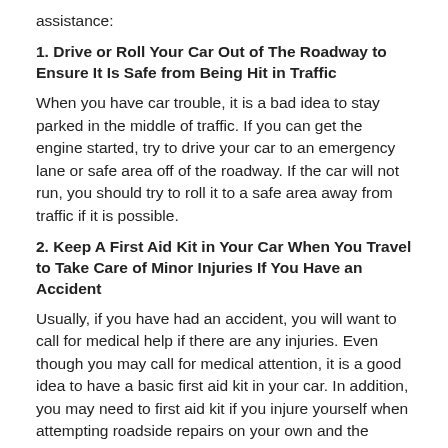assistance:
1. Drive or Roll Your Car Out of The Roadway to Ensure It Is Safe from Being Hit in Traffic
When you have car trouble, it is a bad idea to stay parked in the middle of traffic. If you can get the engine started, try to drive your car to an emergency lane or safe area off of the roadway. If the car will not run, you should try to roll it to a safe area away from traffic if it is possible.
2. Keep A First Aid Kit in Your Car When You Travel to Take Care of Minor Injuries If You Have an Accident
Usually, if you have had an accident, you will want to call for medical help if there are any injuries. Even though you may call for medical attention, it is a good idea to have a basic first aid kit in your car. In addition, you may need to first aid kit if you injure yourself when attempting roadside repairs on your own and the injuries are minor and do not call for medical attention right away.
3. Make Sure That You Have Signals to Make Your Car Visible When You Pull Over Due to Car Trouble